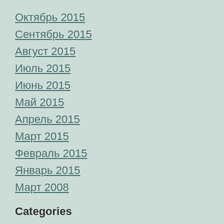Октябрь 2015
Сентябрь 2015
Август 2015
Июль 2015
Июнь 2015
Май 2015
Апрель 2015
Март 2015
Февраль 2015
Январь 2015
Март 2008
Categories